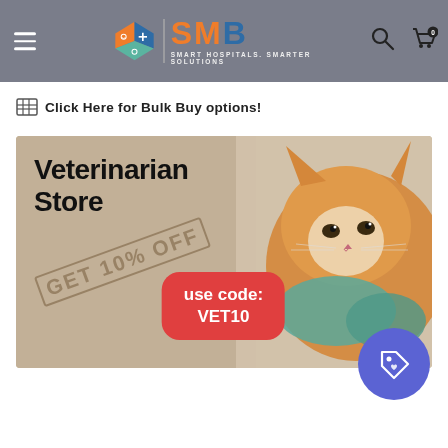SMB - Smart Hospitals. Smarter Solutions.
🏪 Click Here for Bulk Buy options!
[Figure (illustration): Veterinarian Store promotional banner. Background shows a cat being held by a vet in green gloves. Text overlay reads 'Veterinarian Store' in bold black, 'GET 10% off' in diagonal stamped style, and a red rounded badge saying 'use code: VET10'. A purple circle badge with a tag icon appears in the bottom right.]